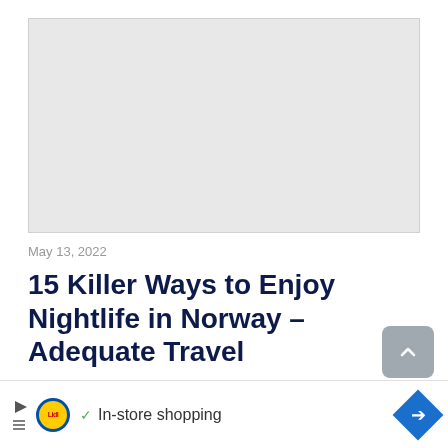[Figure (photo): Gray placeholder image box]
May 13, 2022
15 Killer Ways to Enjoy Nightlife in Norway – Adequate Travel
[Figure (other): Advertisement bar with Lidl logo, checkmark, 'In-store shopping' text, and navigation diamond icon]